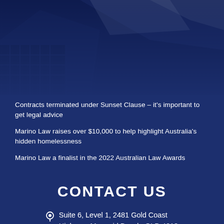[Figure (photo): Dark blue tinted photo background of what appears to be legal or office building structures, dimly lit with dark navy overlay]
Contracts terminated under Sunset Clause – it's important to get legal advice
Marino Law raises over $10,000 to help highlight Australia's hidden homelessness
Marino Law a finalist in the 2022 Australian Law Awards
CONTACT US
Suite 6, Level 1, 2481 Gold Coast Highway, Mermaid Beach, QLD 4218